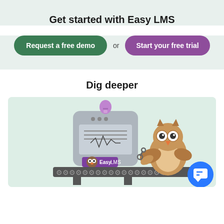Get started with Easy LMS
Request a free demo or Start your free trial
Dig deeper
[Figure (illustration): Cartoon illustration of an owl mascot holding a wrench, standing next to a machine with the Easy LMS logo on it. The machine has a lightbulb on top and a conveyor belt with gear icons below. A blue chat button is in the bottom right corner.]